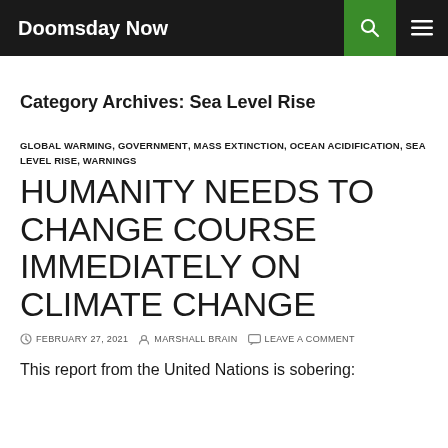Doomsday Now
Category Archives: Sea Level Rise
GLOBAL WARMING, GOVERNMENT, MASS EXTINCTION, OCEAN ACIDIFICATION, SEA LEVEL RISE, WARNINGS
HUMANITY NEEDS TO CHANGE COURSE IMMEDIATELY ON CLIMATE CHANGE
FEBRUARY 27, 2021   MARSHALL BRAIN   LEAVE A COMMENT
This report from the United Nations is sobering: